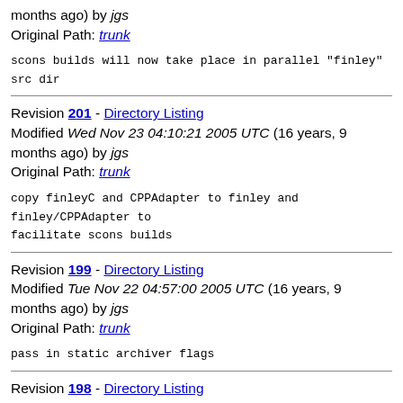months ago) by jgs
Original Path: trunk
scons builds will now take place in parallel "finley"
src dir
Revision 201 - Directory Listing
Modified Wed Nov 23 04:10:21 2005 UTC (16 years, 9 months ago) by jgs
Original Path: trunk
copy finleyC and CPPAdapter to finley and
finley/CPPAdapter to
facilitate scons builds
Revision 199 - Directory Listing
Modified Tue Nov 22 04:57:00 2005 UTC (16 years, 9 months ago) by jgs
Original Path: trunk
pass in static archiver flags
Revision 198 - Directory Listing
Modified Tue Nov 22 04:17:02 2005 UTC (16 years, 9